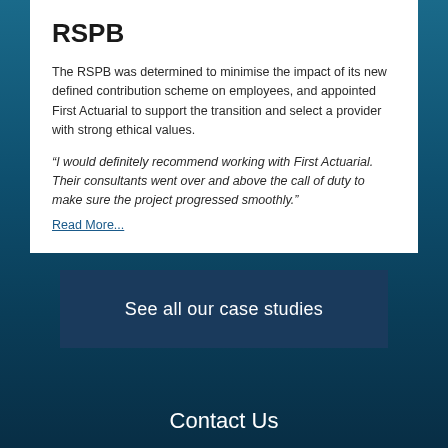RSPB
The RSPB was determined to minimise the impact of its new defined contribution scheme on employees, and appointed First Actuarial to support the transition and select a provider with strong ethical values.
“I would definitely recommend working with First Actuarial. Their consultants went over and above the call of duty to make sure the project progressed smoothly.”
Read More...
See all our case studies
Contact Us